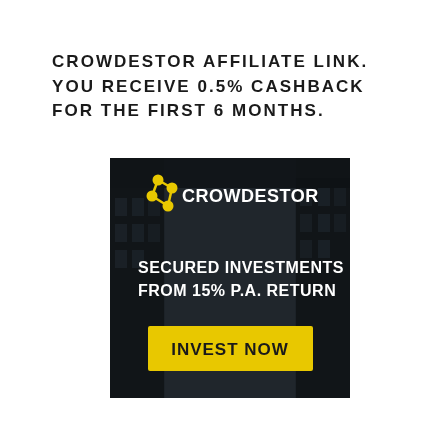CROWDESTOR AFFILIATE LINK. YOU RECEIVE 0.5% CASHBACK FOR THE FIRST 6 MONTHS.
[Figure (illustration): Crowdestor advertisement banner showing a dark cityscape background with yellow Crowdestor logo (network icon + text), tagline 'SECURED INVESTMENTS FROM 15% P.A. RETURN', and a yellow 'INVEST NOW' button.]